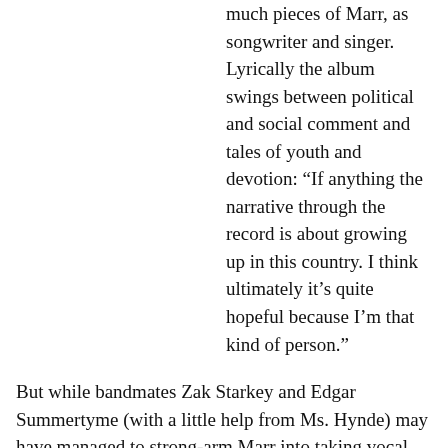much pieces of Marr, as songwriter and singer. Lyrically the album swings between political and social comment and tales of youth and devotion: “If anything the narrative through the record is about growing up in this country. I think ultimately it’s quite hopeful because I’m that kind of person.”
But while bandmates Zak Starkey and Edgar Summertyme (with a little help from Ms. Hynde) may have managed to strong-arm Marr into taking vocal duties, he’s not going emo: “I’m absolutely not interested in being the frontman in a band that bares my soul or feelings in song. Siouxsie Sioux, or